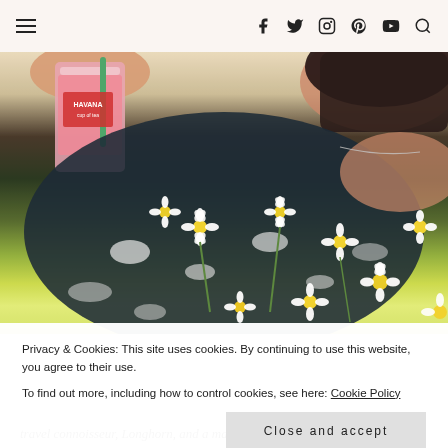Navigation bar with hamburger menu and social icons: facebook, twitter, instagram, pinterest, youtube, search
[Figure (photo): Woman in dark floral dress holding a pink drink (Havana brand cup), surrounded by white daisy flowers, outdoors in bright sunlight]
Privacy & Cookies: This site uses cookies. By continuing to use this website, you agree to their use.
To find out more, including how to control cookies, see here: Cookie Policy
Close and accept
travel connoisseur, Longhorn, and a maxi dress aficionado. I